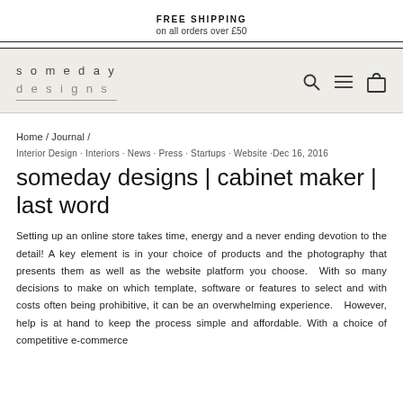FREE SHIPPING
on all orders over £50
[Figure (logo): Someday Designs logo with brand name in spaced lettering, alongside search, menu, and cart icons]
Home / Journal /
Interior Design · Interiors · News · Press · Startups · Website ·Dec 16, 2016
someday designs | cabinet maker | last word
Setting up an online store takes time, energy and a never ending devotion to the detail! A key element is in your choice of products and the photography that presents them as well as the website platform you choose.  With so many decisions to make on which template, software or features to select and with costs often being prohibitive, it can be an overwhelming experience.  However, help is at hand to keep the process simple and affordable. With a choice of competitive e-commerce